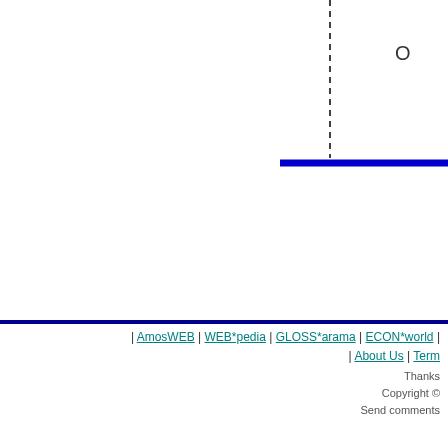[Figure (other): Partial view of an economics diagram showing a vertical dashed line and a horizontal thick blue line, clipped at top of page. A label '0' is partially visible at the top right.]
| AmosWEB | WEB*pedia | GLOSS*arama | ECON*world | | About Us | Term... Thanks Copyright © Send comments
Thanks
Copyright ©
Send comments